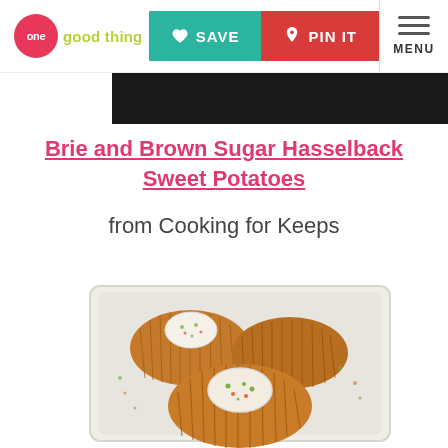one good thing | SAVE | PIN IT | MENU
Brie and Brown Sugar Hasselback Sweet Potatoes
from Cooking for Keeps
[Figure (photo): Three Hasselback sweet potatoes with brie cheese on top, garnished with herbs and bacon bits, served on a white rectangular baking dish]